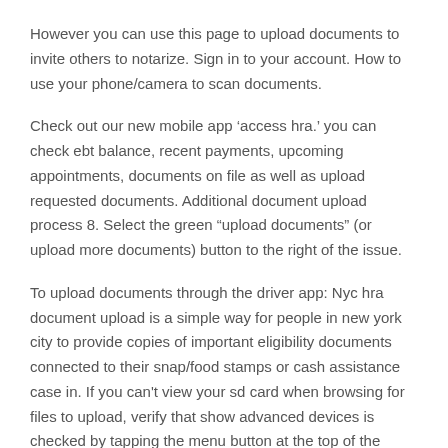However you can use this page to upload documents to invite others to notarize. Sign in to your account. How to use your phone/camera to scan documents.
Check out our new mobile app ‘access hra.’ you can check ebt balance, recent payments, upcoming appointments, documents on file as well as upload requested documents. Additional document upload process 8. Select the green “upload documents” (or upload more documents) button to the right of the issue.
To upload documents through the driver app: Nyc hra document upload is a simple way for people in new york city to provide copies of important eligibility documents connected to their snap/food stamps or cash assistance case in. If you can't view your sd card when browsing for files to upload, verify that show advanced devices is checked by tapping the menu button at the top of the screen and looking under settings.